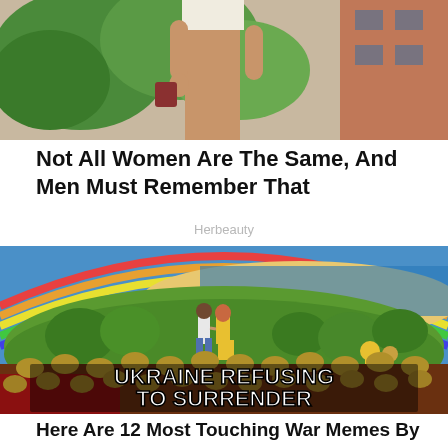[Figure (photo): Cropped photo showing the lower body of a woman in a white swimsuit/outfit standing outdoors with greenery and a terracotta building in the background]
Not All Women Are The Same, And Men Must Remember That
Herbeauty
[Figure (illustration): Illustration showing soldiers holding up a grassy hill on which a couple walks hand in hand toward a sunny beach. Text overlaid reads 'UKRAINE REFUSING TO SURRENDER']
Here Are 12 Most Touching War Memes By